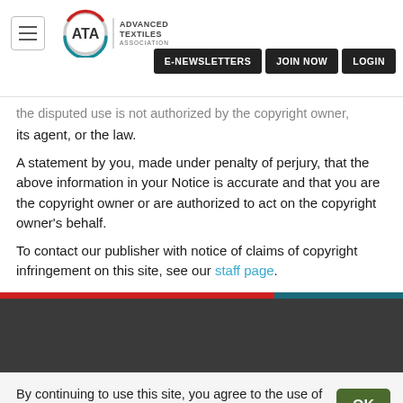ATA Advanced Textiles Association | E-NEWSLETTERS | JOIN NOW | LOGIN
...the disputed use is not authorized by the copyright owner, its agent, or the law.
A statement by you, made under penalty of perjury, that the above information in your Notice is accurate and that you are the copyright owner or are authorized to act on the copyright owner's behalf.
To contact our publisher with notice of claims of copyright infringement on this site, see our staff page.
By continuing to use this site, you agree to the use of cookies. Learn about how we use cookies.